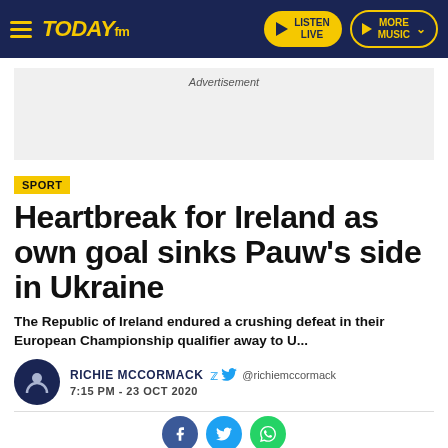TODAY fm — LISTEN LIVE | MORE MUSIC
Advertisement
SPORT
Heartbreak for Ireland as own goal sinks Pauw's side in Ukraine
The Republic of Ireland endured a crushing defeat in their European Championship qualifier away to U...
RICHIE MCCORMACK @richiemccormack 7:15 PM - 23 OCT 2020